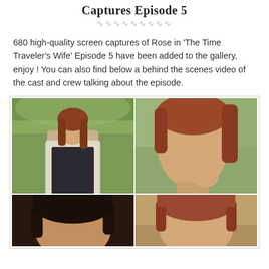Captures Episode 5
680 high-quality screen captures of Rose in 'The Time Traveler's Wife' Episode 5 have been added to the gallery, enjoy ! You can also find below a behind the scenes video of the cast and crew talking about the episode.
[Figure (photo): Gallery of four screen captures of Rose from 'The Time Traveler's Wife' Episode 5. Top-left: young red-haired woman in floral dress and white cardigan outdoors. Top-right: close-up of red-haired woman outdoors. Bottom-left: dark indoor close-up scene. Bottom-right: woman with reddish hair in lighter setting.]